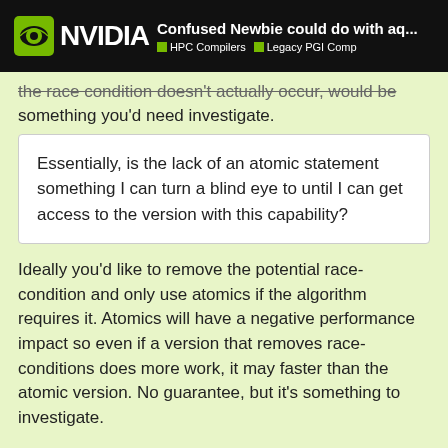Confused Newbie could do with aq... | HPC Compilers | Legacy PGI Comp
the race condition doesn't actually occur, would be something you'd need investigate.
Essentially, is the lack of an atomic statement something I can turn a blind eye to until I can get access to the version with this capability?
Ideally you'd like to remove the potential race-condition and only use atomics if the algorithm requires it. Atomics will have a negative performance impact so even if a version that removes race-conditions does more work, it may faster than the atomic version. No guarantee, but it's something to investigate.
I hesitate to advise turning a blind-eye but so long as you're aware you have a race-condition and verification problem it should be ok. Granted if you start get verification issues it will be h... direction from someone...
9 / 12